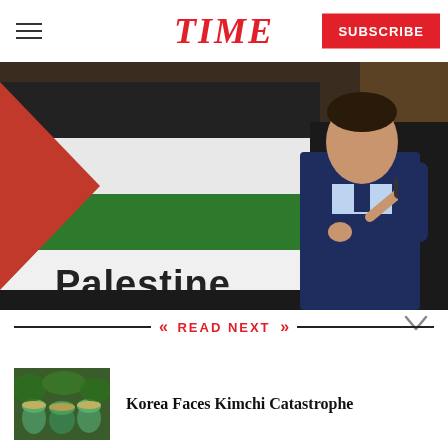TIME
[Figure (photo): Man in a navy suit speaking at a microphone in front of a Palestine banner/rollup display with the Palestinian flag design (red triangle, black, white, green horizontal stripes). Text 'Palestine' visible at bottom of banner.]
READ NEXT
[Figure (photo): Thumbnail image of kimchi jars or fermented food containers in green/teal color, surrounded by green foliage.]
Korea Faces Kimchi Catastrophe